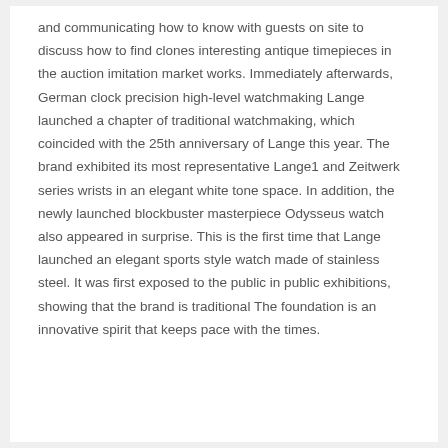and communicating how to know with guests on site to discuss how to find clones interesting antique timepieces in the auction imitation market works. Immediately afterwards, German clock precision high-level watchmaking Lange launched a chapter of traditional watchmaking, which coincided with the 25th anniversary of Lange this year. The brand exhibited its most representative Lange1 and Zeitwerk series wrists in an elegant white tone space. In addition, the newly launched blockbuster masterpiece Odysseus watch also appeared in surprise. This is the first time that Lange launched an elegant sports style watch made of stainless steel. It was first exposed to the public in public exhibitions, showing that the brand is traditional The foundation is an innovative spirit that keeps pace with the times.